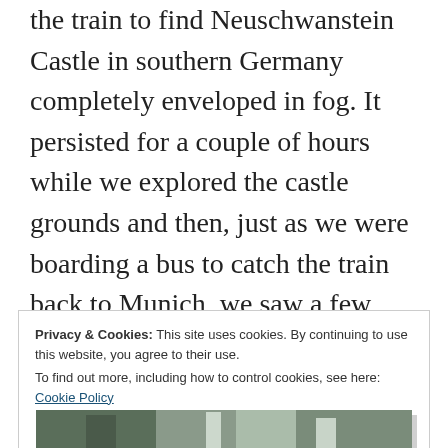the train to find Neuschwanstein Castle in southern Germany completely enveloped in fog. It persisted for a couple of hours while we explored the castle grounds and then, just as we were boarding a bus to catch the train back to Munich, we saw a few rays of sunlight filtering through the clouds. By the time we got to the train station 10 minutes later, the sky was a bright, sunny blue and we were flagging down a taxi to take us back to the castle for a second take. Was it worth it? Well, here's one of my favorite photos from the trip captured on our second visit:
Privacy & Cookies: This site uses cookies. By continuing to use this website, you agree to their use.
To find out more, including how to control cookies, see here: Cookie Policy
[Figure (photo): Bottom strip of a photograph showing Neuschwanstein Castle, partially visible]